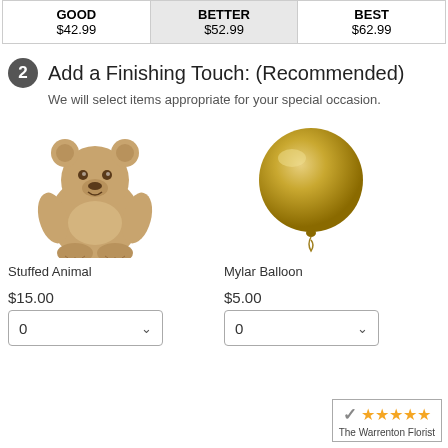| GOOD | BETTER | BEST |
| --- | --- | --- |
| $42.99 | $52.99 | $62.99 |
2  Add a Finishing Touch: (Recommended)
We will select items appropriate for your special occasion.
[Figure (photo): Photo of a stuffed animal teddy bear]
Stuffed Animal
[Figure (photo): Photo of a gold mylar balloon]
Mylar Balloon
$15.00
$5.00
[Figure (logo): The Warrenton Florist badge with 5 gold stars and checkmark logo]